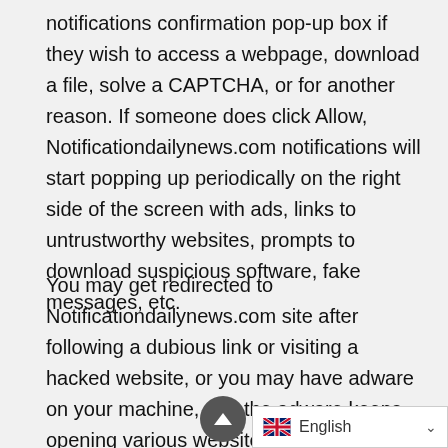notifications confirmation pop-up box if they wish to access a webpage, download a file, solve a CAPTCHA, or for another reason. If someone does click Allow, Notificationdailynews.com notifications will start popping up periodically on the right side of the screen with ads, links to untrustworthy websites, prompts to download suspicious software, fake messages, etc.
You may get redirected to Notificationdailynews.com site after following a dubious link or visiting a hacked website, or you may have adware on your machine, and the adware keeps opening various websites including Notificationdailynews.com on your browser from time to time. This step-by-step guide will help you get rid of adware and remove Notificationdailynews.com notifications and ads from your...